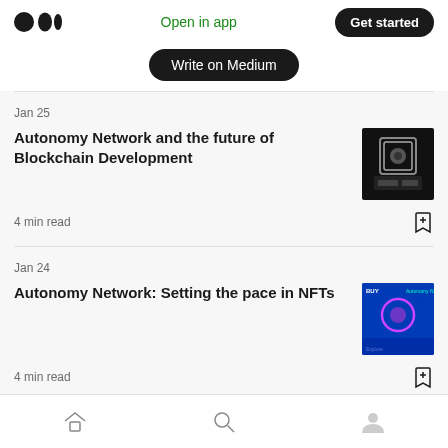Medium logo | Open in app | Get started
Write on Medium
Jan 25
Autonomy Network and the future of Blockchain Development
4 min read
[Figure (photo): Dark abstract blockchain/technology image]
Jan 24
Autonomy Network: Setting the pace in NFTs
4 min read
[Figure (photo): Blue NFT promotional image]
Home | Search | Profile navigation